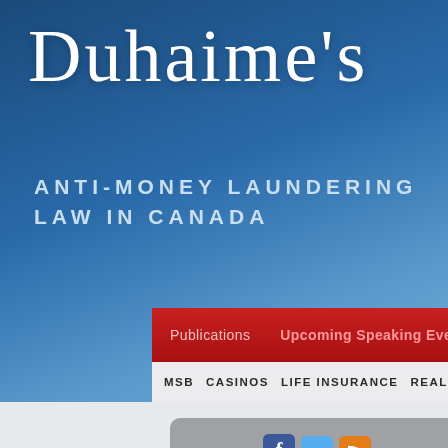Duhaime's
ANTI-MONEY LAUNDERING
LAW IN CANADA
Publications   Upcoming Speaking Events
MSB   CASINOS   LIFE INSURANCE   REAL ESTATE   S...
[Figure (screenshot): Social media follow icons: Facebook, Twitter, RSS feed]
Follow us:
AML LAW
IN CANADA
24-Hour Rule
AML for Canadians
AML Investigations Toolkit
AML Rules for Lawyers
Understa...
markets
By Christine
[Figure (photo): Partial photo visible at bottom right — appears to be a sky/water scene]